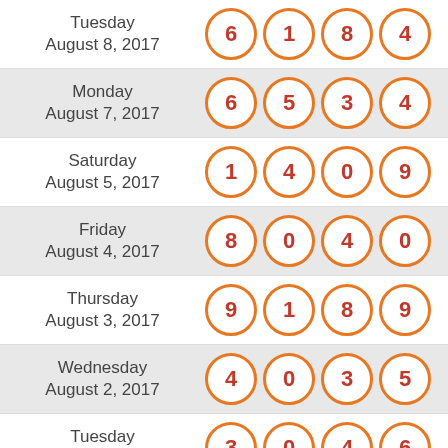| Date | Numbers |
| --- | --- |
| Tuesday August 8, 2017 | 6 1 8 4 |
| Monday August 7, 2017 | 6 5 3 4 |
| Saturday August 5, 2017 | 1 4 0 9 |
| Friday August 4, 2017 | 8 0 4 0 |
| Thursday August 3, 2017 | 9 1 8 9 |
| Wednesday August 2, 2017 | 4 0 3 5 |
| Tuesday August 1, 2017 | 3 0 4 6 |
| Monday (partial) | ... |